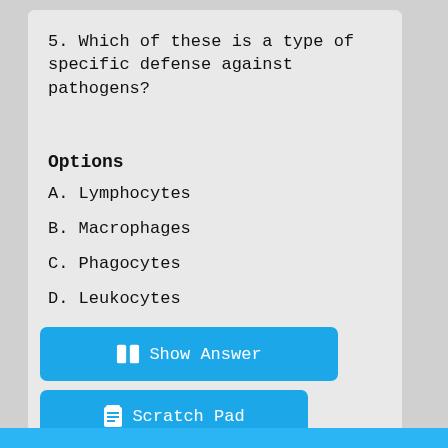5. Which of these is a type of specific defense against pathogens?
Options
A. Lymphocytes
B. Macrophages
C. Phagocytes
D. Leukocytes
Show Answer
Scratch Pad
Discuss